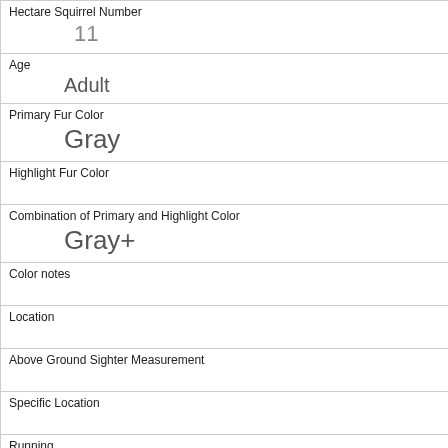| Hectare Squirrel Number | 11 |
| Age | Adult |
| Primary Fur Color | Gray |
| Highlight Fur Color |  |
| Combination of Primary and Highlight Color | Gray+ |
| Color notes |  |
| Location |  |
| Above Ground Sighter Measurement |  |
| Specific Location |  |
| Running | 0 |
| Chasing |  |